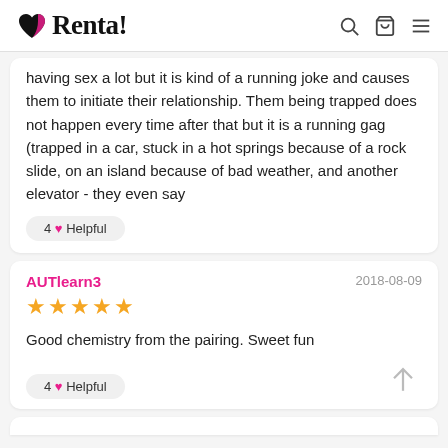Renta!
having sex a lot but it is kind of a running joke and causes them to initiate their relationship. Them being trapped does not happen every time after that but it is a running gag (trapped in a car, stuck in a hot springs because of a rock slide, on an island because of bad weather, and another elevator - they even say
4 ♥ Helpful
AUTlearn3
2018-08-09
★★★★★
Good chemistry from the pairing. Sweet fun
4 ♥ Helpful